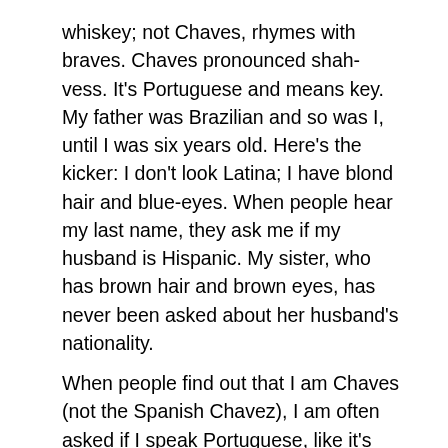whiskey; not Chaves, rhymes with braves. Chaves pronounced shah-vess. It's Portuguese and means key. My father was Brazilian and so was I, until I was six years old. Here's the kicker: I don't look Latina; I have blond hair and blue-eyes. When people hear my last name, they ask me if my husband is Hispanic. My sister, who has brown hair and brown eyes, has never been asked about her husband's nationality.
When people find out that I am Chaves (not the Spanish Chavez), I am often asked if I speak Portuguese, like it's proof that I am really Brazilian. How many African-Americans speak Swahili or Italian-Americans speak Italian? Why do people expect Latinos to speak Spanish? Is it the prejudice that we are the most recently arrived immigrants, still wet from swimming the Rio Grande, intent on forcing all Americans (true-born that is) to speak English? OR do people assume that Hispanics refuse to assimilate and learn English, thus forcing white American